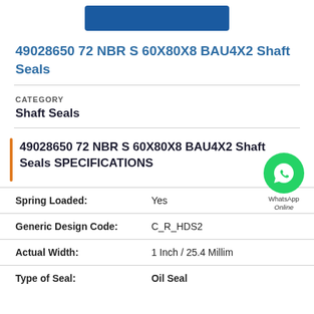49028650 72 NBR S 60X80X8 BAU4X2 Shaft Seals
CATEGORY
Shaft Seals
49028650 72 NBR S 60X80X8 BAU4X2 Shaft Seals SPECIFICATIONS
| Specification | Value |
| --- | --- |
| Spring Loaded: | Yes |
| Generic Design Code: | C_R_HDS2 |
| Actual Width: | 1 Inch / 25.4 Millim |
| Type of Seal: | Oil Seal |